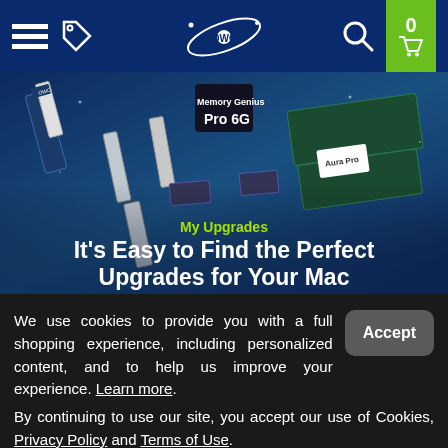OWC navigation bar with hamburger menu, tag icon, OWC logo, search icon, and cart (0)
[Figure (photo): Hero image showing multiple SSD and memory upgrade products arranged on a blue background, with 'Pro 6G' label visible]
My Upgrades — It's Easy to Find the Perfect Upgrades for Your Mac
We use cookies to provide you with a full shopping experience, including personalized content, and to help us improve your experience. Learn more. By continuing to use our site, you accept our use of Cookies, Privacy Policy and Terms of Use.